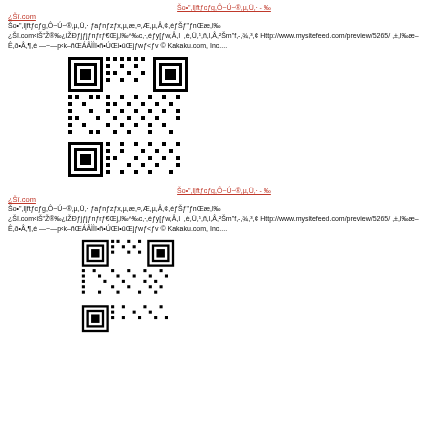Šo•",l|ftƒcƒg,Ô~Ú~®,µ,Ü,· - ‰
¿Šî.com
Šo•",l|ftƒcƒg,Ô~Ú~®,µ,Ü,·  ƒaƒnƒzƒx,µ,æ,¤,Æ,µ,Â,¢,éƒŠƒ"ƒnŒæ,l‰
¿Šî.com‹iŠ"Ž®‰¿iŽÐƒjƒjƒnƒrƒ€Œj,l‰^‰c,·,éƒy[ƒw,Â,l  ,è,Ü,¹,ñ,l,Â,²Šm"f,-,¾,³,¢ Http://www.mysitefeed.com/preview/5265/ ,±,l‰æ–Ê,ð•Â,¶,é —~—p‹k–ñŒÁÂÌÌî•ñ•ÚŒi•ûŒjƒwƒ<ƒv © Kakaku.com, Inc....
[Figure (other): QR code black and white]
Šo•",l|ftƒcƒg,Ô~Ú~®,µ,Ü,· - ‰
¿Šî.com
Šo•",l|ftƒcƒg,Ô~Ú~®,µ,Ü,·  ƒaƒnƒzƒx,µ,æ,¤,Æ,µ,Â,¢,éƒŠƒ"ƒnŒæ,l‰
¿Šî.com‹iŠ"Ž®‰¿iŽÐƒjƒjƒnƒrƒ€Œj,l‰^‰c,·,éƒy[ƒw,Â,l  ,è,Ü,¹,ñ,l,Â,²Šm"f,-,¾,³,¢ Http://www.mysitefeed.com/preview/5265/ ,±,l‰æ–Ê,ð•Â,¶,é —~—p‹k–ñŒÁÂÌÌî•ñ•ÚŒi•ûŒjƒwƒ<ƒv © Kakaku.com, Inc....
[Figure (other): QR code black and white (second instance)]